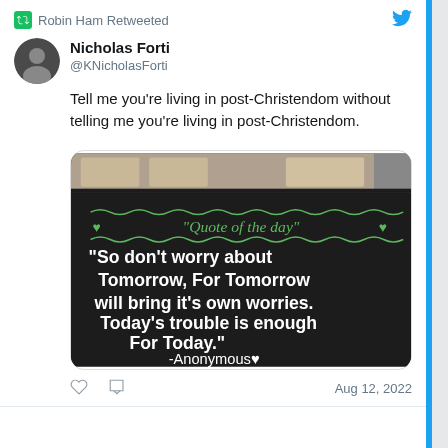Robin Ham Retweeted
Nicholas Forti @KNicholasForti
Tell me you're living in post-Christendom without telling me you're living in post-Christendom.
[Figure (photo): Chalkboard sign reading: 'Quote of the day' - 'So don't worry about Tomorrow, For Tomorrow will bring it's own worries. Today's trouble is enough For Today.' -Anonymous]
Aug 12, 2022